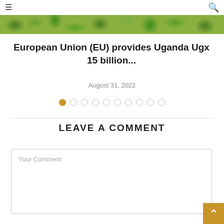≡  🔍
[Figure (photo): A market scene with green vegetables and produce, shown as a banner image strip at the top of the page.]
European Union (EU) provides Uganda Ugx 15 billion...
August 31, 2022
[Figure (other): Slider pagination dots: 10 circles, first one filled gold/amber, the rest outlined.]
LEAVE A COMMENT
Your Comment